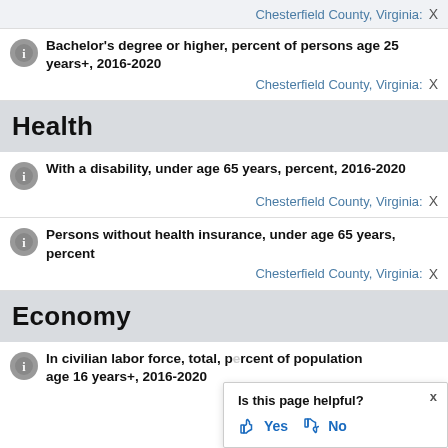Chesterfield County, Virginia:  X
Bachelor's degree or higher, percent of persons age 25 years+, 2016-2020
Chesterfield County, Virginia:  X
Health
With a disability, under age 65 years, percent, 2016-2020
Chesterfield County, Virginia:  X
Persons without health insurance, under age 65 years, percent
Chesterfield County, Virginia:  X
Economy
In civilian labor force, total, percent of population age 16 years+, 2016-2020
[Figure (infographic): Is this page helpful? Yes / No popup overlay]